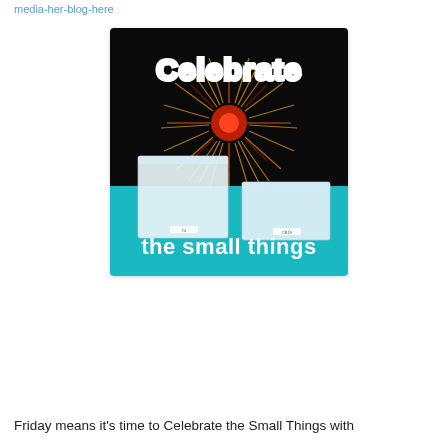media-her-blog-here
[Figure (illustration): A promotional poster with a black background showing a fireworks burst in the upper center, two translucent plastic storage boxes on a teal/cyan surface in the lower portion. White bold text at top reads 'Celebrate' and white bold text at bottom reads 'the small things'.]
Friday means it's time to Celebrate the Small Things with